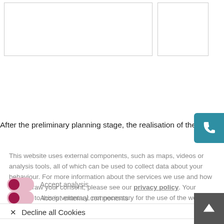[Figure (other): Two placeholder content boxes at top of page — a wide left box and a narrower right box, both with light gray borders on white background]
After the preliminary planning stage, the realisation of the new b
This website uses external components, such as maps, videos or analysis tools, all of which can be used to collect data about your behaviour. For more information about the services we use and how to withdraw your consent, please see our privacy policy. Your consent to this is voluntary, not necessary for the use of the website and can be revoked at any time with effect for the future.
Accept analysis
Accept external components
✕  Decline all Cookies
Accept all Cookies